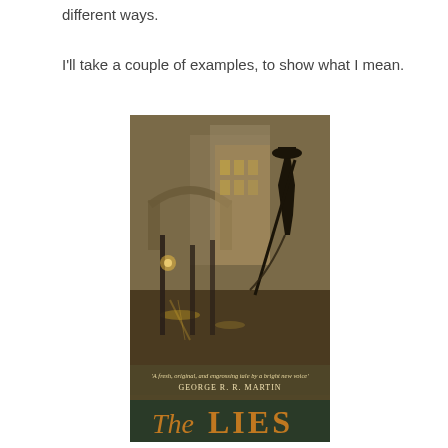different ways.
I'll take a couple of examples, to show what I mean.
[Figure (photo): Book cover of 'The Lies' with a blurb from George R. R. Martin reading 'A fresh, original, and engrossing tale by a bright new voice'. The cover shows a Venice-style canal scene at night with a silhouetted gondolier figure against golden-lit buildings and water reflections.]